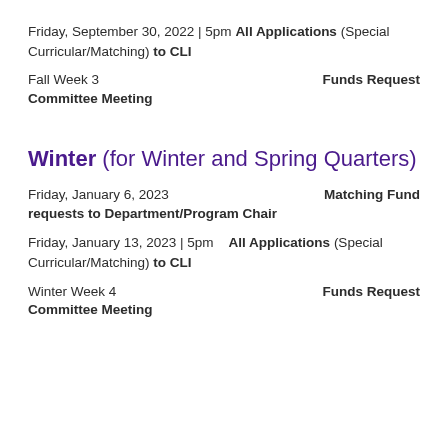Friday, September 30, 2022 | 5pm All Applications (Special Curricular/Matching) to CLI
Fall Week 3   Funds Request Committee Meeting
Winter (for Winter and Spring Quarters)
Friday, January 6, 2023   Matching Fund requests to Department/Program Chair
Friday, January 13, 2023 | 5pm   All Applications (Special Curricular/Matching) to CLI
Winter Week 4   Funds Request Committee Meeting